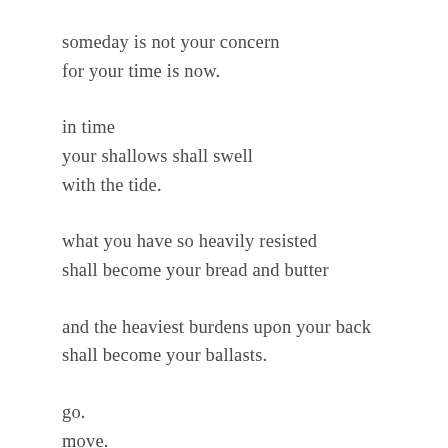someday is not your concern
for your time is now.
in time
your shallows shall swell
with the tide.
what you have so heavily resisted
shall become your bread and butter
and the heaviest burdens upon your back
shall become your ballasts.
go.
move.
it is the only way